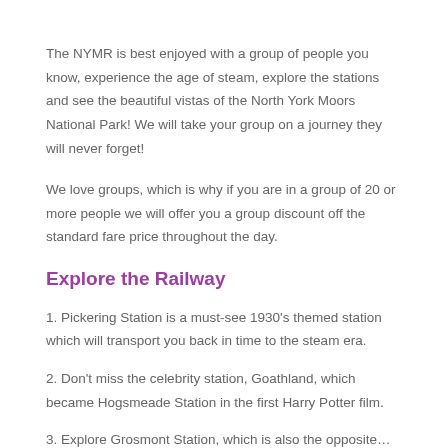The NYMR is best enjoyed with a group of people you know, experience the age of steam, explore the stations and see the beautiful vistas of the North York Moors National Park! We will take your group on a journey they will never forget!
We love groups, which is why if you are in a group of 20 or more people we will offer you a group discount off the standard fare price throughout the day.
Explore the Railway
1. Pickering Station is a must-see 1930's themed station which will transport you back in time to the steam era.
2. Don't miss the celebrity station, Goathland, which became Hogsmeade Station in the first Harry Potter film.
3. Explore Grosmont Station, which is also the opposite...